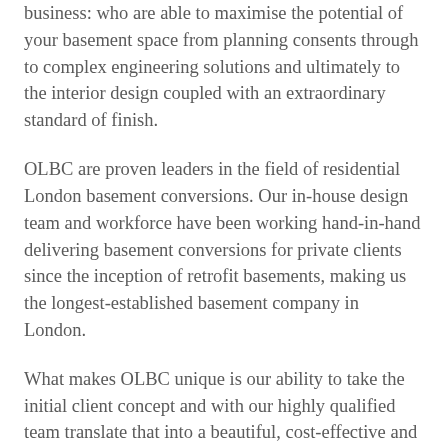business: who are able to maximise the potential of your basement space from planning consents through to complex engineering solutions and ultimately to the interior design coupled with an extraordinary standard of finish.
OLBC are proven leaders in the field of residential London basement conversions. Our in-house design team and workforce have been working hand-in-hand delivering basement conversions for private clients since the inception of retrofit basements, making us the longest-established basement company in London.
What makes OLBC unique is our ability to take the initial client concept and with our highly qualified team translate that into a beautiful, cost-effective and highly